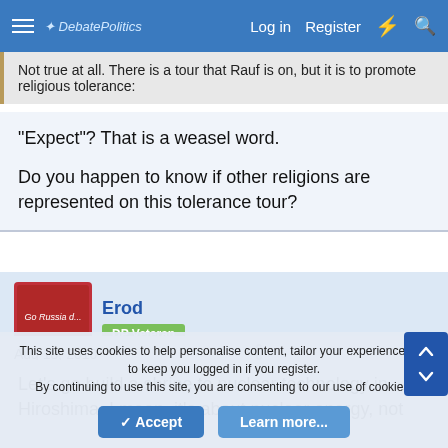DebatePolitics — Log in | Register
Not true at all. There is a tour that Rauf is on, but it is to promote religious tolerance:
"Expect"? That is a weasel word.

Do you happen to know if other religions are represented on this tolerance tour?
Erod
DP Veteran
Aug 18, 2010
#6
Let's go build a shrine to nuclear technology in Hiroshima. I mean, it's about nuclear energy, not nuclear bombs, so c'mon.
This site uses cookies to help personalise content, tailor your experience and to keep you logged in if you register.
By continuing to use this site, you are consenting to our use of cookies.